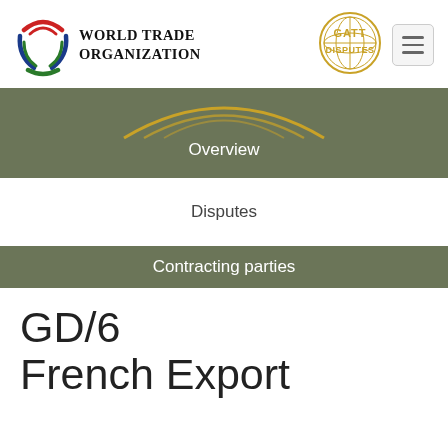[Figure (logo): World Trade Organization logo with circular blue/red/green swirl graphic and 'WORLD TRADE ORGANIZATION' text in serif uppercase]
[Figure (logo): GATT Disputes circular gold logo with globe graphic and 'GATT DISPUTES' text]
[Figure (other): Hamburger menu button (three horizontal lines) in a rounded rectangle]
[Figure (infographic): Navigation banner with olive/dark green background showing three menu items: Overview, Disputes, Contracting parties. Disputes is highlighted with a white background box. Gold arc decoration at top.]
GD/6
French Export